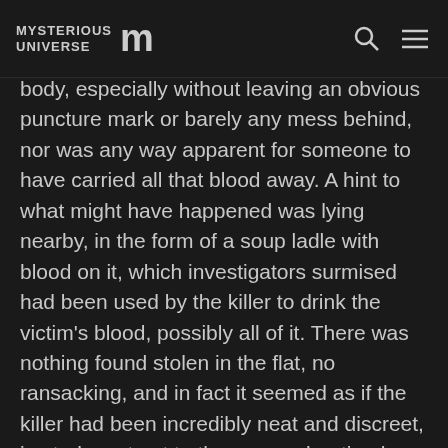MYSTERIOUS UNIVERSE [logo]
body, especially without leaving an obvious puncture mark or barely any mess behind, nor was any way apparent for someone to have carried all that blood away. A hint to what might have happened was lying nearby, in the form of a soup ladle with blood on it, which investigators surmised had been used by the killer to drink the victim's blood, possibly all of it. There was nothing found stolen in the flat, no ransacking, and in fact it seemed as if the killer had been incredibly neat and discreet, in stark contrast to the savage beating he had inflicted, and he was even theorized as being the one to have neatly fold the victim's clothes.
The media was quickly having a field day with